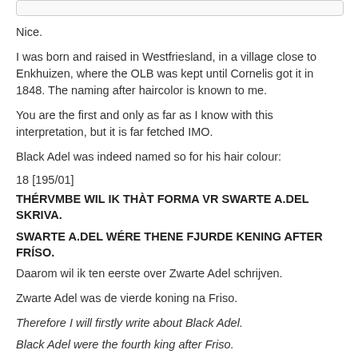Nice.
I was born and raised in Westfriesland, in a village close to Enkhuizen, where the OLB was kept until Cornelis got it in 1848. The naming after haircolor is known to me.
You are the first and only as far as I know with this interpretation, but it is far fetched IMO.
Black Adel was indeed named so for his hair colour:
18 [195/01]
THÉRVMBE WIL IK THÀT FORMA VR SWARTE A.DEL SKRIVA.
SWARTE A.DEL WÉRE THENE FJURDE KENING AFTER FRÍSO.
Daarom wil ik ten eerste over Zwarte Adel schrijven.
Zwarte Adel was de vierde koning na Friso.
Therefore I will firstly write about Black Adel.
Black Adel were the fourth king after Friso.